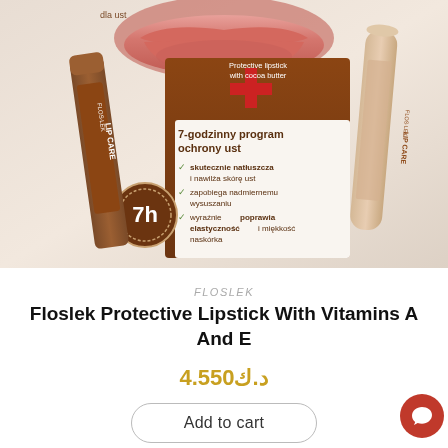[Figure (photo): Product photo of Floslek Lip Care protective lipstick with cocoa butter, showing two stick containers (one in brown packaging, one in beige/skin tone), with a product box showing Polish text: '7-godzinny program ochrony ust' (7-hour lip protection program) with checkmarks listing benefits, and a close-up of lips at the top.]
FLOSLEK
Floslek Protective Lipstick With Vitamins A And E
د.ك4.550
Add to cart